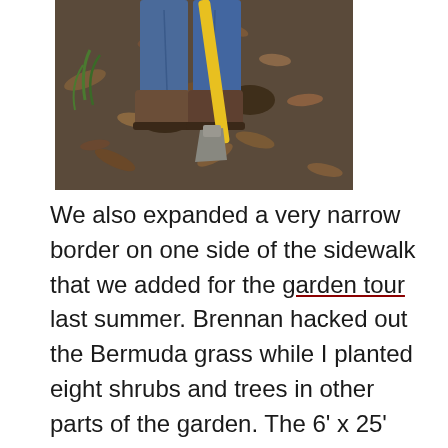[Figure (photo): Person using a yellow-handled tool (spade or hoe) to dig or hack at soil covered with dead leaves and debris. Person is wearing blue jeans and work boots.]
We also expanded a very narrow border on one side of the sidewalk that we added for the garden tour last summer. Brennan hacked out the Bermuda grass while I planted eight shrubs and trees in other parts of the garden. The 6' x 25' space is now ready for soil which Bill is bringing on Monday. It will take about 3.5 cubic yards of soil. Bill is bringing home a dump truck load, and we'll also add soil to the raised beds we built for the cutting garden last summer. The soil compacted, so we need more. When we buy soil–which isn't all the time–we buy manure mix from Minick Materials. I'll plant roses in the center of the border and surround them with